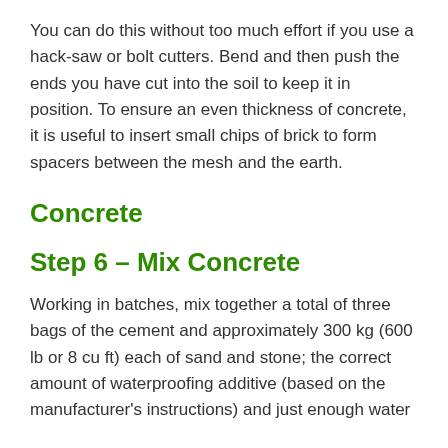You can do this without too much effort if you use a hack-saw or bolt cutters. Bend and then push the ends you have cut into the soil to keep it in position. To ensure an even thickness of concrete, it is useful to insert small chips of brick to form spacers between the mesh and the earth.
Concrete
Step 6 – Mix Concrete
Working in batches, mix together a total of three bags of the cement and approximately 300 kg (600 lb or 8 cu ft) each of sand and stone; the correct amount of waterproofing additive (based on the manufacturer's instructions) and just enough water